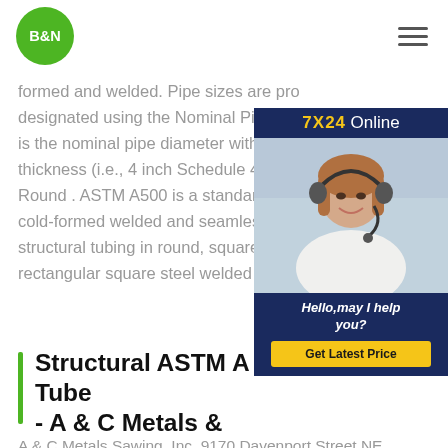[Figure (logo): B&N logo: green circle with white bold text B&N]
formed and welded. Pipe sizes are pro designated using the Nominal Pipe Siz is the nominal pipe diameter with a sch thickness (i.e., 4 inch Schedule 40 pipe Round . ASTM A500 is a standard spe cold-formed welded and seamless car structural tubing in round, square astm rectangular square steel welded pipe
[Figure (infographic): 7X24 Online ad banner with photo of woman with headset, text: Hello,may I help you?, and yellow Get Latest Price button]
Structural ASTM A 500 Square Tube - A & C Metals &
A & C Metals Sawing, Inc. 9170 Davenport Street NE Blaine, Minnesota 55449 Phone (763) 786-1048 Fax